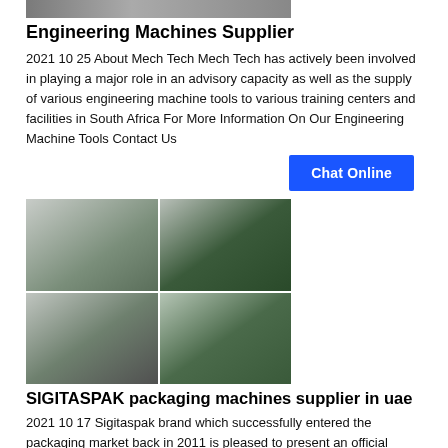[Figure (photo): Industrial engineering machines in a workshop/factory setting]
Engineering Machines Supplier
2021 10 25 About Mech Tech Mech Tech has actively been involved in playing a major role in an advisory capacity as well as the supply of various engineering machine tools to various training centers and facilities in South Africa For More Information On Our Engineering Machine Tools Contact Us
[Figure (other): Chat Online button]
[Figure (photo): Grid of four industrial/packaging machine images including SIGITASPAK machinery]
SIGITASPAK packaging machines supplier in uae
2021 10 17 Sigitaspak brand which successfully entered the packaging market back in 2011 is pleased to present an official office and showroom